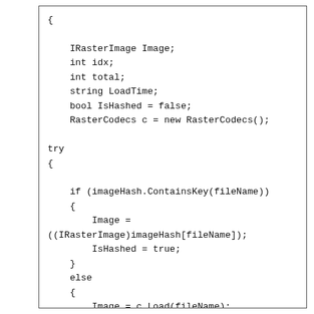{
    IRasterImage Image;
    int idx;
    int total;
    string LoadTime;
    bool IsHashed = false;
    RasterCodecs c = new RasterCodecs();

try
{

    if (imageHash.ContainsKey(fileName))
    {
        Image =
((IRasterImage)imageHash[fileName]);
        IsHashed = true;
    }
    else
    {
        Image = c.Load(fileName);
        //Image = codecs.Load(fileName);

        IsHashed = false;